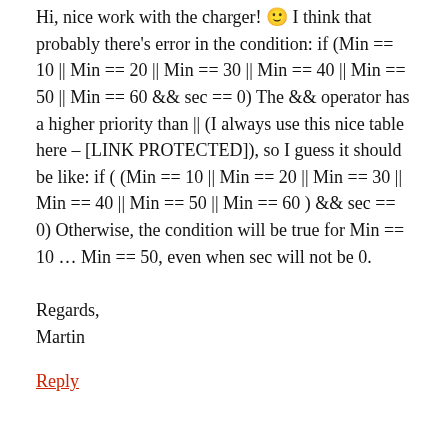Hi, nice work with the charger! 🙂 I think that probably there's error in the condition:
if (Min == 10 || Min == 20 || Min == 30 || Min == 40 || Min == 50 || Min == 60 && sec == 0)
The && operator has a higher priority than || (I always use this nice table here – [LINK PROTECTED]), so I guess it should be like:
if ( (Min == 10 || Min == 20 || Min == 30 || Min == 40 || Min == 50 || Min == 60 ) && sec == 0)
Otherwise, the condition will be true for Min == 10 … Min == 50, even when sec will not be 0.
Regards,
Martin
Reply